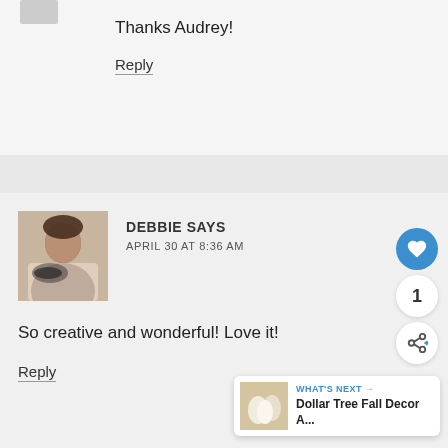Thanks Audrey!
Reply
DEBBIE SAYS
APRIL 30 AT 8:36 AM
So creative and wonderful! Love it!
Reply
WHAT'S NEXT → Dollar Tree Fall Decor A...